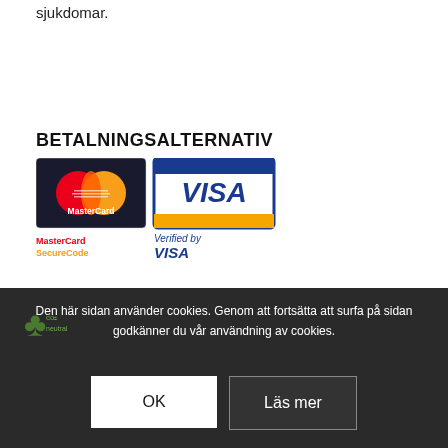sjukdomar.
BETALNINGSALTERNATIV
[Figure (logo): MasterCard and Visa payment logos with MasterCard SecureCode and Verified by VISA security badges]
Den här sidan använder cookies. Genom att fortsätta att surfa på sidan godkänner du vår användning av cookies.